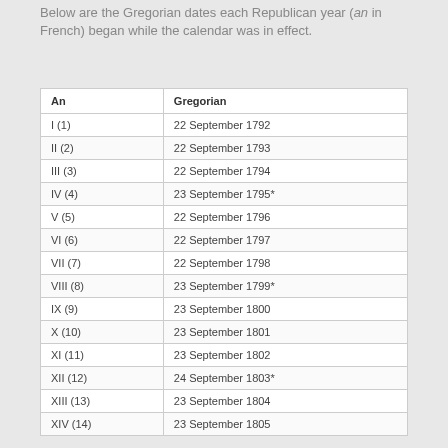Below are the Gregorian dates each Republican year (an in French) began while the calendar was in effect.
| An | Gregorian |
| --- | --- |
| I (1) | 22 September 1792 |
| II (2) | 22 September 1793 |
| III (3) | 22 September 1794 |
| IV (4) | 23 September 1795* |
| V (5) | 22 September 1796 |
| VI (6) | 22 September 1797 |
| VII (7) | 22 September 1798 |
| VIII (8) | 23 September 1799* |
| IX (9) | 23 September 1800 |
| X (10) | 23 September 1801 |
| XI (11) | 23 September 1802 |
| XII (12) | 24 September 1803* |
| XIII (13) | 23 September 1804 |
| XIV (14) | 23 September 1805 |